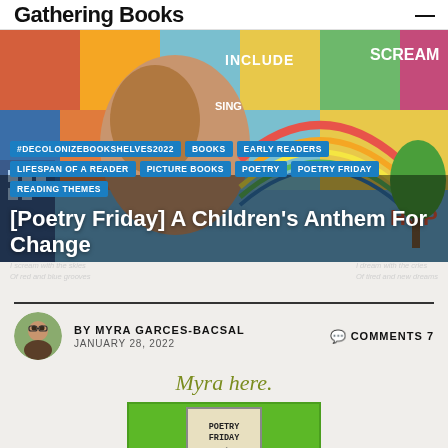Gathering Books
[Figure (photo): Colorful mural artwork featuring a man's face with words 'INCLUDE', 'SCREAM', 'SING', 'HOPE' and other text visible on a painted urban mural background]
#DECOLONIZEBOOKSHELVES2022
BOOKS
EARLY READERS
LIFESPAN OF A READER
PICTURE BOOKS
POETRY
POETRY FRIDAY
READING THEMES
[Poetry Friday] A Children's Anthem For Change
I scream with the skies
Of red and blue grooves
I dream with the cries
Of tired and new dreams
BY MYRA GARCES-BACSAL   COMMENTS 7
JANUARY 28, 2022
Myra here.
[Figure (photo): A Poetry Friday sign on a bright green background with a dark silhouette of trees or foliage at the bottom]